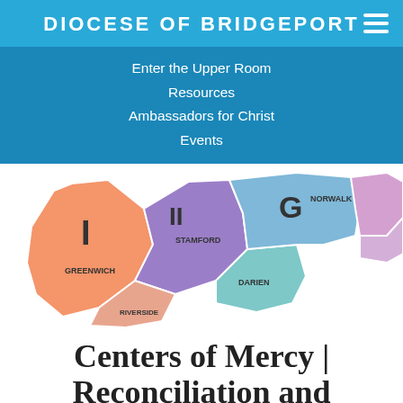DIOCESE OF BRIDGEPORT
Enter the Upper Room
Resources
Ambassadors for Christ
Events
[Figure (map): Colorful map showing deanery regions of Diocese of Bridgeport including Greenwich (orange), Riverside (peach), Stamford (purple), Darien (light blue/teal), Norwalk (light blue), and other regions (pink/lavender). Regions are labeled with letters I, II, G and town names.]
Centers of Mercy | Reconciliation and Adoration
Choose a Deanery below for a list of its confession and adoration availability.